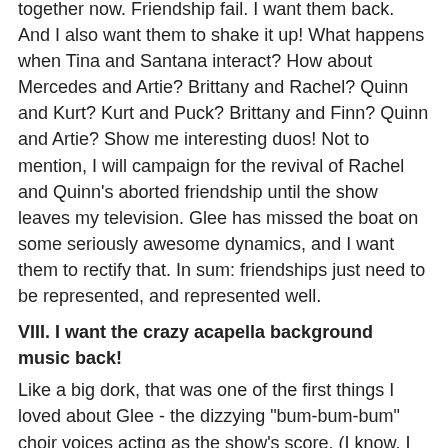together now. Friendship fail. I want them back. And I also want them to shake it up! What happens when Tina and Santana interact? How about Mercedes and Artie? Brittany and Rachel? Quinn and Kurt? Kurt and Puck? Brittany and Finn? Quinn and Artie? Show me interesting duos! Not to mention, I will campaign for the revival of Rachel and Quinn's aborted friendship until the show leaves my television. Glee has missed the boat on some seriously awesome dynamics, and I want them to rectify that. In sum: friendships just need to be represented, and represented well.
VIII. I want the crazy acapella background music back!
Like a big dork, that was one of the first things I loved about Glee - the dizzying "bum-bum-bum" choir voices acting as the show's score. (I know, I know; were my eyes open?) Where has it gone? Luckily, after a little research, I discovered you can listen on YouTube. It's genius, and I want it back.
IX. Birthdays. This is arguably the most insignificant of my wishes, but I'm listing it anyways. I seriously want to know all the characters' birthdays. All we know is that Rachel Berry's is December 18th. I want the rest! And a million extra points...